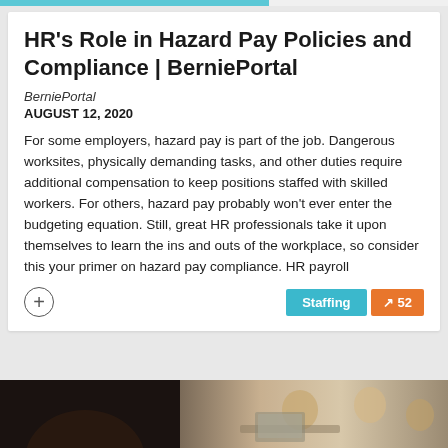HR's Role in Hazard Pay Policies and Compliance | BerniePortal
BerniePortal
AUGUST 12, 2020
For some employers, hazard pay is part of the job. Dangerous worksites, physically demanding tasks, and other duties require additional compensation to keep positions staffed with skilled workers. For others, hazard pay probably won't ever enter the budgeting equation. Still, great HR professionals take it upon themselves to learn the ins and outs of the workplace, so consider this your primer on hazard pay compliance. HR payroll
[Figure (photo): Partial photo strip at bottom showing dark silhouette on left and people in a meeting/office setting on the right]